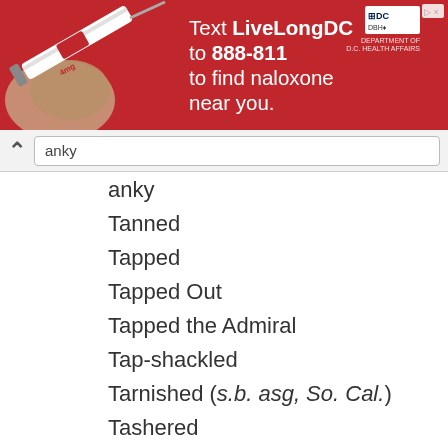[Figure (infographic): Red advertisement banner: 'Text LiveLongDC to 888-811 to find naloxone near you.' with DC government logos and syringe image.]
anky
Tanned
Tapped
Tapped Out
Tapped the Admiral
Tap-shackled
Tarnished (s.b. asg, So. Cal.)
Tashered
Tattooed
Tavered
Taverned
Tead Up
Ted
Teed
Teed Up